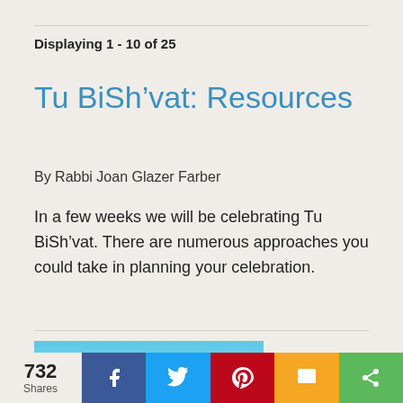Displaying 1 - 10 of 25
Tu BiSh’vat: Resources
By Rabbi Joan Glazer Farber
In a few weeks we will be celebrating Tu BiSh’vat. There are numerous approaches you could take in planning your celebration.
[Figure (photo): Outdoor photo showing blue sky and trees, partially visible]
732 Shares